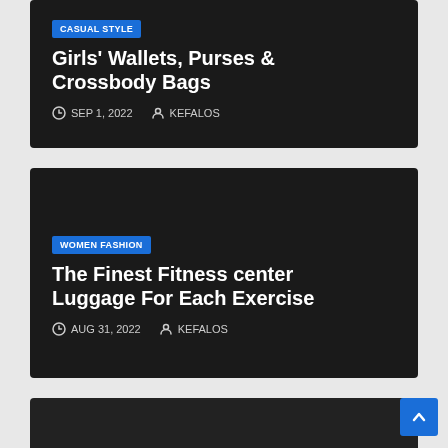[Figure (screenshot): Article card 1: Dark background card with 'CASUAL STYLE' blue badge, title 'Girls' Wallets, Purses & Crossbody Bags', date SEP 1, 2022, author KEFALOS]
[Figure (screenshot): Article card 2: Dark background card with 'WOMEN FASHION' blue badge, title 'The Finest Fitness center Luggage For Each Exercise', date AUG 31, 2022, author KEFALOS]
[Figure (screenshot): Article card 3: Partial dark card visible at bottom of page]